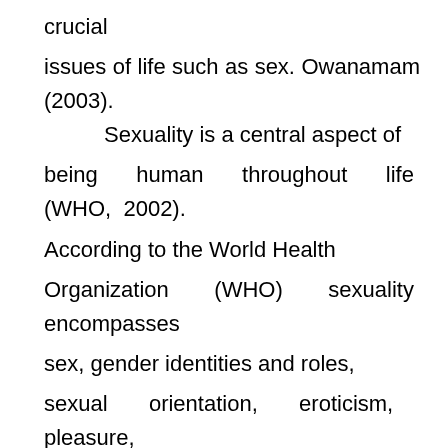crucial issues of life such as sex. Owanamam (2003). Sexuality is a central aspect of being human throughout life (WHO, 2002). According to the World Health Organization (WHO) sexuality encompasses sex, gender identities and roles, sexual orientation, eroticism, pleasure, intimacy and reproduction. Sexuality is experienced and expressed in thoughts, fantasies, desires, beliefs, attitudes, values, behaviuors, practices, roles and